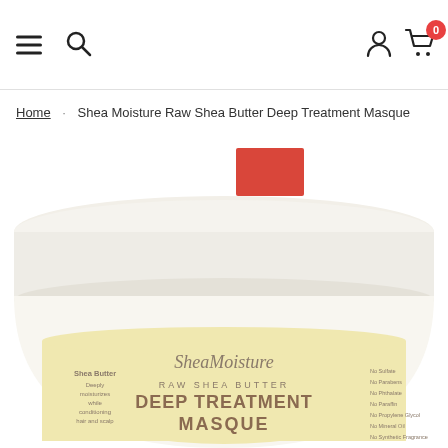Navigation header with hamburger menu, search icon, user icon, and cart icon
Home  Shea Moisture Raw Shea Butter Deep Treatment Masque
[Figure (photo): Product photo of Shea Moisture Raw Shea Butter Deep Treatment Masque jar with white lid and cream/yellow label. A red color swatch is visible above the jar. The jar label shows the SheaMoisture logo, 'RAW SHEA BUTTER', 'DEEP TREATMENT MASQUE' in large text, and ingredient highlights.]